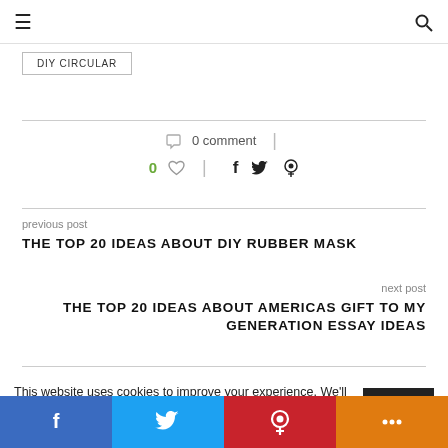≡  [search icon]
DIY CIRCULAR
○ 0 comment | 0 ♡ | f 🐦 ⊕
previous post
THE TOP 20 IDEAS ABOUT DIY RUBBER MASK
next post
THE TOP 20 IDEAS ABOUT AMERICAS GIFT TO MY GENERATION ESSAY IDEAS
This website uses cookies to improve your experience. We'll assume you're ok with this, but you can opt-out if you wish. Accept
f  [twitter]  P  [share]